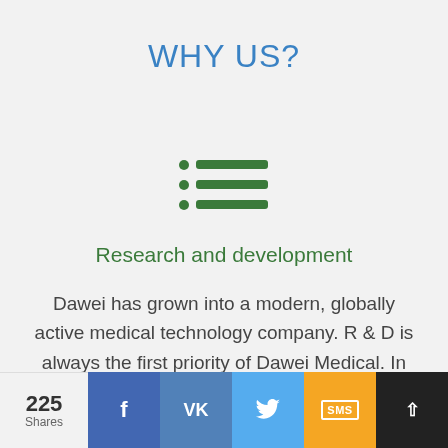WHY US?
[Figure (illustration): Green list icon with three bullet points and horizontal lines]
Research and development
Dawei has grown into a modern, globally active medical technology company. R & D is always the first priority of Dawei Medical. In recent years, the R&D department has been constantly expanding
225 Shares | Facebook | VK | Twitter | SMS | scroll-up button